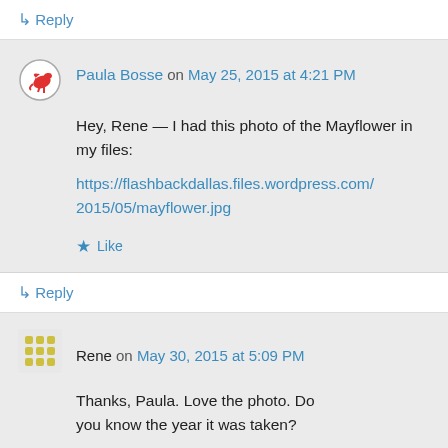↳ Reply
Paula Bosse on May 25, 2015 at 4:21 PM
Hey, Rene — I had this photo of the Mayflower in my files:
https://flashbackdallas.files.wordpress.com/2015/05/mayflower.jpg
★ Like
↳ Reply
Rene on May 30, 2015 at 5:09 PM
Thanks, Paula. Love the photo. Do you know the year it was taken?